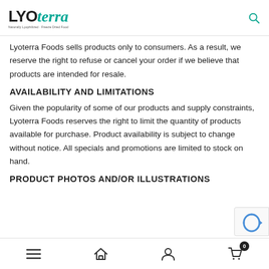LYOTERRA - Naturally Lyophilized. Freeze Dried Food.
Lyoterra Foods sells products only to consumers. As a result, we reserve the right to refuse or cancel your order if we believe that products are intended for resale.
AVAILABILITY AND LIMITATIONS
Given the popularity of some of our products and supply constraints, Lyoterra Foods reserves the right to limit the quantity of products available for purchase. Product availability is subject to change without notice. All specials and promotions are limited to stock on hand.
PRODUCT PHOTOS AND/OR ILLUSTRATIONS
Navigation bar with menu, home, account, and cart (0) icons